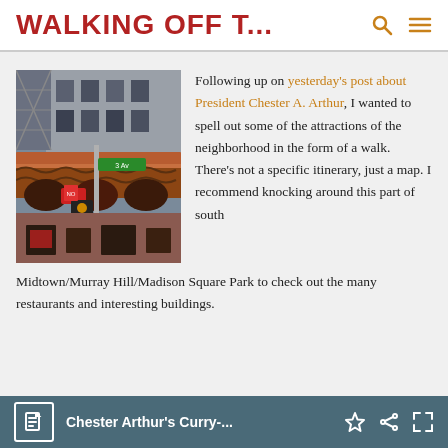WALKING OFF T...
[Figure (photo): Street-level photo of a building with terracotta/copper-colored ornate roofline with decorative ironwork, a street sign pole with green signs, traffic light, red no-parking sign, and urban buildings in background.]
Following up on yesterday's post about President Chester A. Arthur, I wanted to spell out some of the attractions of the neighborhood in the form of a walk. There's not a specific itinerary, just a map. I recommend knocking around this part of south Midtown/Murray Hill/Madison Square Park to check out the many restaurants and interesting buildings.
Chester Arthur's Curry-...